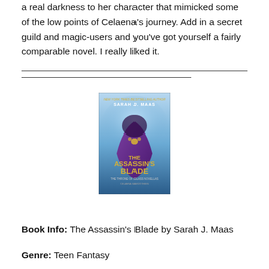a real darkness to her character that mimicked some of the low points of Celaena's journey. Add in a secret guild and magic-users and you've got yourself a fairly comparable novel. I really liked it.
[Figure (photo): Book cover of 'The Assassin's Blade' by Sarah J. Maas, showing a cloaked figure in a purple robe against a blue mystical background.]
Book Info: The Assassin's Blade by Sarah J. Maas
Genre: Teen Fantasy